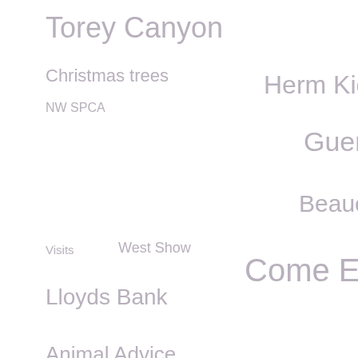[Figure (infographic): Word cloud containing terms: Torey Canyon, CPR, Christmas trees, Herm Kiosk, NW SPCA, Guernsey Cow, Beaucette Marina, Visits, West Show, Come Eat With Me, Lloyds Bank, Animal Advice, Fish, Hamster, Swansea University, GSAD, New Era Vets, Seasonal advice, Labradog, Baby bird, Accidental zoo, Fledglings, Budgie, Oscar Puffin, Vacancy, Avid, %23VolunteersWeek, US Thanks Giving, Christmas Fayre, Little Cottage Daycare, Rambo. All text in muted grey/lavender color on white background, varying font sizes.]